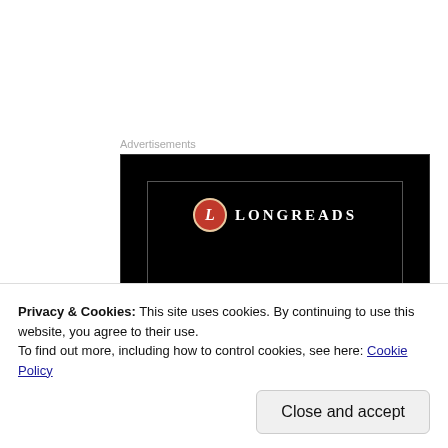Advertisements
[Figure (screenshot): Longreads advertisement banner with black background, red circle logo with 'L', brand name 'LONGREADS' and tagline 'Read anything great lately?']
Privacy & Cookies: This site uses cookies. By continuing to use this website, you agree to their use. To find out more, including how to control cookies, see here: Cookie Policy
Close and accept
I'm pretty clueless when it comes to the punk scene but I